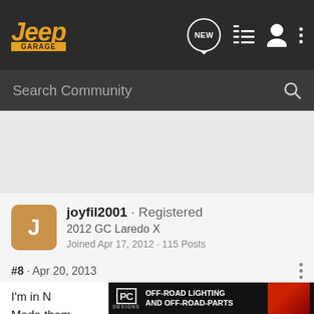[Figure (logo): Jeep Garage logo in orange and dark background with navigation icons]
Search Community
joyfil2001 · Registered
2012 GC Laredo X
Joined Apr 17, 2012 · 115 Posts
#8 · Apr 20, 2013
I'm in N... s. Made them ag... They
[Figure (screenshot): PC Designs advertisement banner: OFF-ROAD LIGHTING AND OFF-ROAD-PARTS]